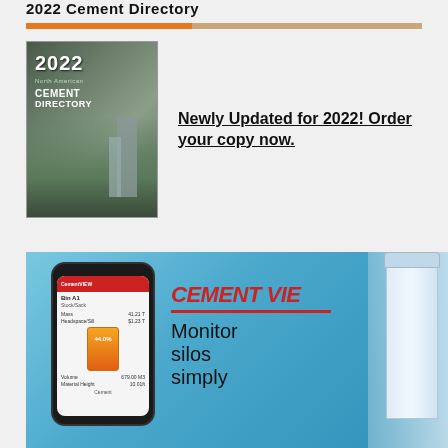2022 Cement Directory
[Figure (photo): 2022 North American Cement Directory book cover showing industrial cement plant aerial view]
Newly Updated for 2022! Order your copy now.
[Figure (photo): Advertisement for CementVIEW showing a smartphone app displaying silo monitoring data (Bin A1, Stock/Sack, Mass 41.21T, Headspace/Sill $1.23T, Volume 679.00 M3, Material Height 10.01ft, 44.0%) alongside industrial cement silos and the text 'CEMENT VIE Monitor silos simply']